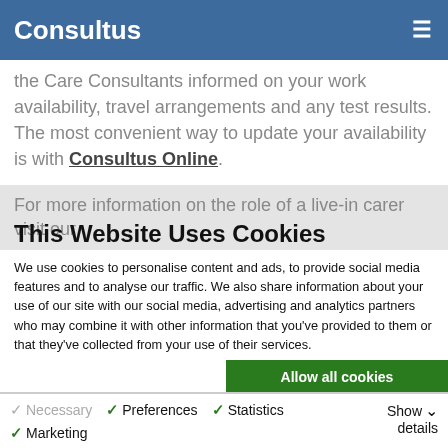Consultus
the Care Consultants informed on your work availability, travel arrangements and any test results. The most convenient way to update your availability is with Consultus Online.
For more information on the role of a live-in carer visit our
This Website Uses Cookies
We use cookies to personalise content and ads, to provide social media features and to analyse our traffic. We also share information about your use of our site with our social media, advertising and analytics partners who may combine it with other information that you've provided to them or that they've collected from your use of their services.
Allow all cookies
Allow selection
Use necessary cookies only
Necessary  Preferences  Statistics  Marketing  Show details